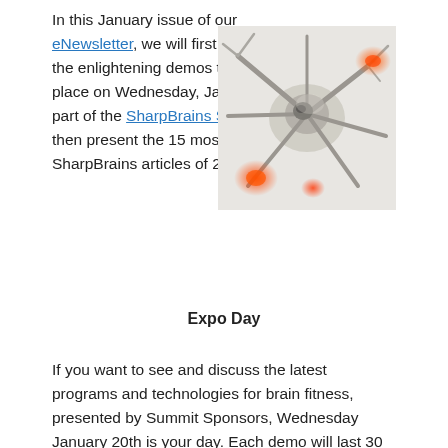In this January issue of our eNewsletter, we will first brief you on the enlightening demos that will take place on Wednesday, January 20th, as part of the SharpBrains Summit, and then present the 15 most stimulating SharpBrains articles of 2009.
[Figure (photo): Close-up illustration of neurons with glowing red/orange synaptic connections against a white/grey background.]
Expo Day
If you want to see and discuss the latest programs and technologies for brain fitness, presented by Summit Sponsors, Wednesday January 20th is your day. Each demo will last 30 minutes, followed by 15 minutes of Q&A.